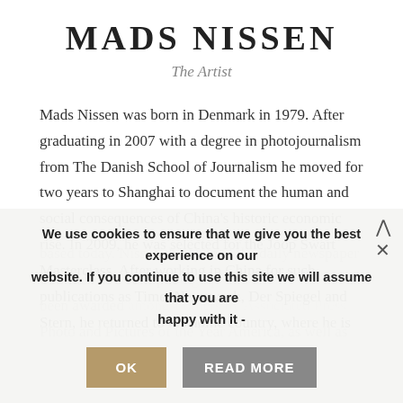MADS NISSEN
The Artist
Mads Nissen was born in Denmark in 1979. After graduating in 2007 with a degree in photojournalism from The Danish School of Journalism he moved for two years to Shanghai to document the human and social consequences of China's historic economic rise. In 2009, he was selected for the Joop Swart Masterclass. After working in China for such publications as Time, Newsweek, Der Spiegel and Stern, he returned to his home country, where he is based today. Nissen then joined the daily newspaper Politiken as a staff photographer. Nissen's work has been awarded amongst others by Associated Press Photo and Pictures of the Year America, as well as
We use cookies to ensure that we give you the best experience on our website. If you continue to use this site we will assume that you are happy with it - OK READ MORE